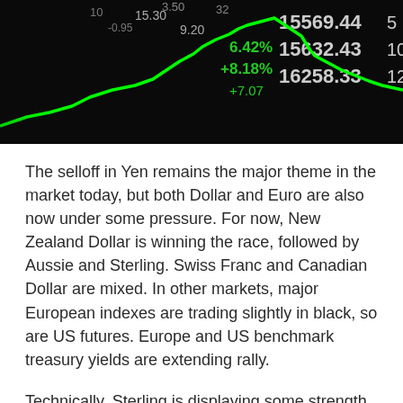[Figure (photo): Stock market display screen showing green candlestick chart and financial data numbers including 15569.44, 15632.43, 16258.33 against a dark background]
The selloff in Yen remains the major theme in the market today, but both Dollar and Euro are also now under some pressure. For now, New Zealand Dollar is winning the race, followed by Aussie and Sterling. Swiss Franc and Canadian Dollar are mixed. In other markets, major European indexes are trading slightly in black, so are US futures. Europe and US benchmark treasury yields are extending rally.
Technically, Sterling is displaying some strength today. EUR/GBP's break of 0.8358 minor support suggests completion of rebound from 0.8201. Deeper fall would be seen back to retest this low. GBP/USD's break of 1.3210 minor resistance suggest resumption of